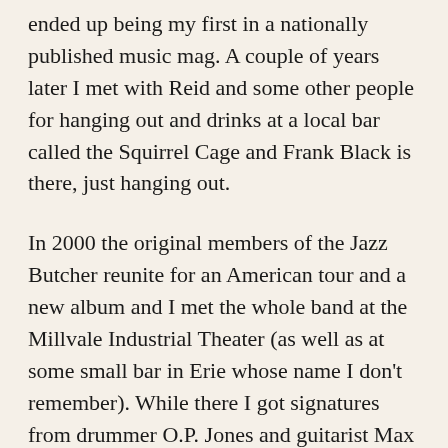ended up being my first in a nationally published music mag. A couple of years later I met with Reid and some other people for hanging out and drinks at a local bar called the Squirrel Cage and Frank Black is there, just hanging out.
In 2000 the original members of the Jazz Butcher reunite for an American tour and a new album and I met the whole band at the Millvale Industrial Theater (as well as at some small bar in Erie whose name I don't remember). While there I got signatures from drummer O.P. Jones and guitarist Max Eider. Eider had also played guitar on David J's 1989 album Songs From Another Season.
I have a friend, a remarkable poet by the name of